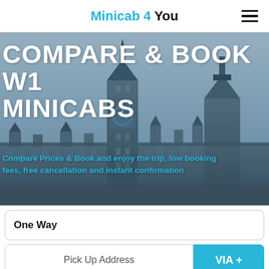Minicab 4 You
[Figure (screenshot): Hero banner with London cityscape (Big Ben silhouette) in grayscale/blue tones background]
COMPARE & BOOK W1 MINICABS
Compare Prices & Book and enjoy the trip, low booking fees, free cancellation and instant confirmation
One Way
Pick Up Address
VIA +
Drop Off Address
23-08-2022 11:02